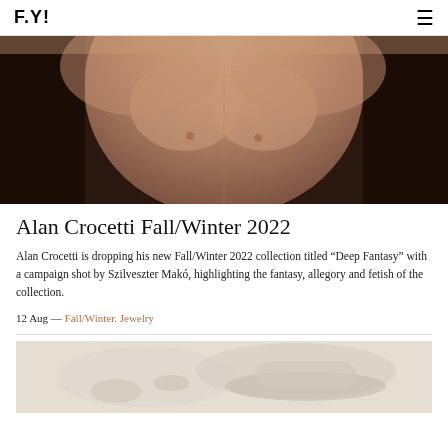F.Y!
[Figure (photo): Close-up torso of a shirtless male model with dark hair, shot in warm tones for Alan Crocetti Fall/Winter 2022 campaign.]
Alan Crocetti Fall/Winter 2022
Alan Crocetti is dropping his new Fall/Winter 2022 collection titled “Deep Fantasy” with a campaign shot by Szilveszter Makó, highlighting the fantasy, allegory and fetish of the collection.
12 Aug — Fall/Winter. Jewelry
[Figure (photo): Partial image of a second fashion article, showing hands and fabric in light tones.]